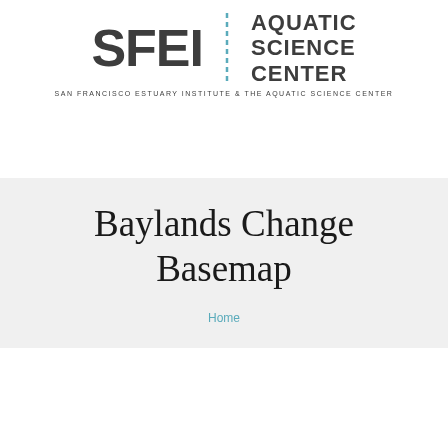[Figure (logo): SFEI Aquatic Science Center logo — large bold 'SFEI' text on the left, a vertical dashed cyan/blue dividing line in the center, and 'AQUATIC SCIENCE CENTER' stacked text on the right, with subtitle 'SAN FRANCISCO ESTUARY INSTITUTE & THE AQUATIC SCIENCE CENTER' below]
[Figure (other): Hamburger/menu button icon — a small rounded rectangle with three horizontal lines representing a navigation menu]
Baylands Change Basemap
Home